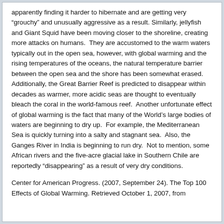apparently finding it harder to hibernate and are getting very “grouchy” and unusually aggressive as a result. Similarly, jellyfish and Giant Squid have been moving closer to the shoreline, creating more attacks on humans. They are accustomed to the warm waters typically out in the open sea, however, with global warming and the rising temperatures of the oceans, the natural temperature barrier between the open sea and the shore has been somewhat erased. Additionally, the Great Barrier Reef is predicted to disappear within decades as warmer, more acidic seas are thought to eventually bleach the coral in the world-famous reef. Another unfortunate effect of global warming is the fact that many of the World’s large bodies of waters are beginning to dry up. For example, the Mediterranean Sea is quickly turning into a salty and stagnant sea. Also, the Ganges River in India is beginning to run dry. Not to mention, some African rivers and the five-acre glacial lake in Southern Chile are reportedly “disappearing” as a result of very dry conditions.
Center for American Progress. (2007, September 24). The Top 100 Effects of Global Warming. Retrieved October 1, 2007, from